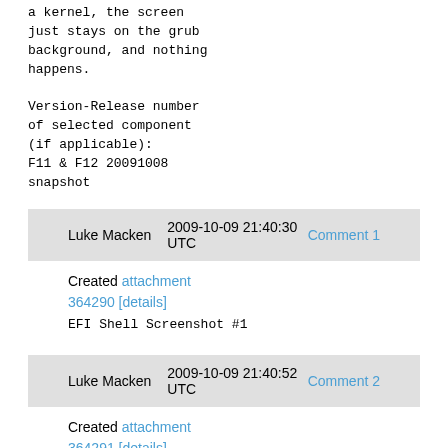a kernel, the screen just stays on the grub background, and nothing happens.

Version-Release number of selected component (if applicable):
F11 & F12 20091008 snapshot
Luke Macken    2009-10-09 21:40:30 UTC    Comment 1
Created attachment 364290 [details]
EFI Shell Screenshot #1
Luke Macken    2009-10-09 21:40:52 UTC    Comment 2
Created attachment 364291 [details]
EFI Shell Screenshot #2